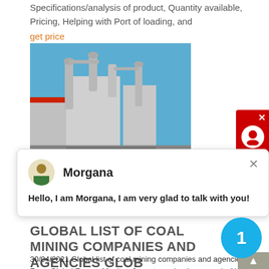Specifications/analysis of product, Quantity available, Pricing, Helping with Port of loading, and
get price
[Figure (photo): Industrial equipment with pipes and metal structures under a blue sky, next to a red building]
Morgana
Hello, I am Morgana, I am very glad to talk with you!
GLOBAL LIST OF COAL MINING COMPANIES AND AGENCIES GLOB
30/04/2021 Global list of coal mining companies and agencies. From Global Energy Monitor. Jump to:navigation, search. ALLETE (USA) Adaro Indonesia; Anglo American (South Africa) Arutmin Indonesia; Aviva Corporation (Australia and Botswana) Berau Coal (Indonesia) BHP Billiton's coal interests; Black Hills Corporation (USA) Bukit Asam (Indonesia) Bumi Resources